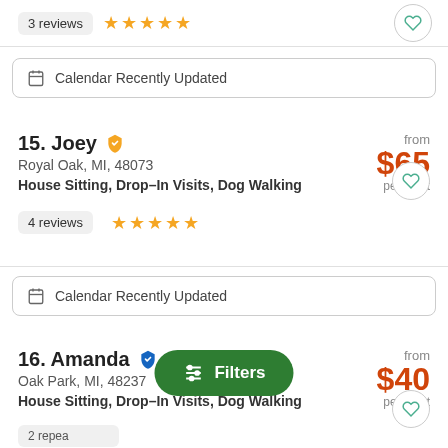3 reviews ★★★★★
Calendar Recently Updated
15. Joey — Royal Oak, MI, 48073 — House Sitting, Drop-In Visits, Dog Walking — from $65 per night — 4 reviews ★★★★★
Calendar Recently Updated
16. Amanda — Oak Park, MI, 48237 — House Sitting, Drop-In Visits, Dog Walking — from $40 per night — 2 repeat clients — 7 reviews ★★★★★
Filters